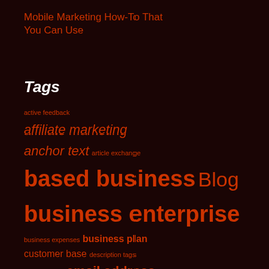Mobile Marketing How-To That You Can Use
Tags
active feedback
affiliate marketing
anchor text  article exchange
based business  Blog
business enterprise
business expenses  business plan
customer base  description tags
early morning  email address
email marketing  email promoting
gateway pages
google webmaster  html tags
image links  internet marketing